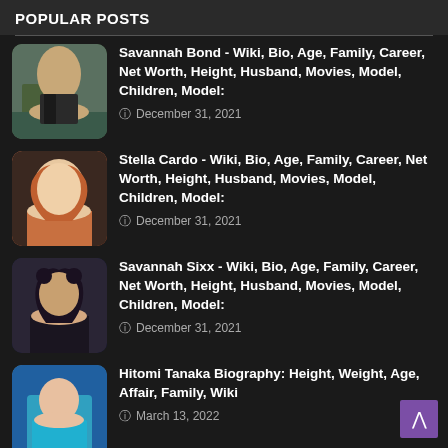POPULAR POSTS
Savannah Bond - Wiki, Bio, Age, Family, Career, Net Worth, Height, Husband, Movies, Model, Children, Model:
December 31, 2021
Stella Cardo - Wiki, Bio, Age, Family, Career, Net Worth, Height, Husband, Movies, Model, Children, Model:
December 31, 2021
Savannah Sixx - Wiki, Bio, Age, Family, Career, Net Worth, Height, Husband, Movies, Model, Children, Model:
December 31, 2021
Hitomi Tanaka Biography: Height, Weight, Age, Affair, Family, Wiki
March 13, 2022